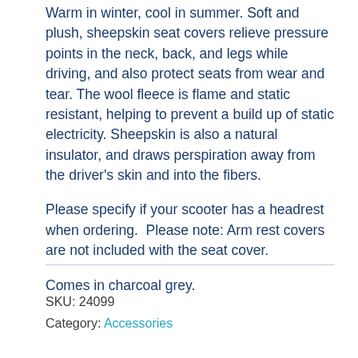Warm in winter, cool in summer. Soft and plush, sheepskin seat covers relieve pressure points in the neck, back, and legs while driving, and also protect seats from wear and tear. The wool fleece is flame and static resistant, helping to prevent a build up of static electricity. Sheepskin is also a natural insulator, and draws perspiration away from the driver's skin and into the fibers.
Please specify if your scooter has a headrest when ordering.  Please note: Arm rest covers are not included with the seat cover.
Comes in charcoal grey.
SKU: 24099
Category: Accessories